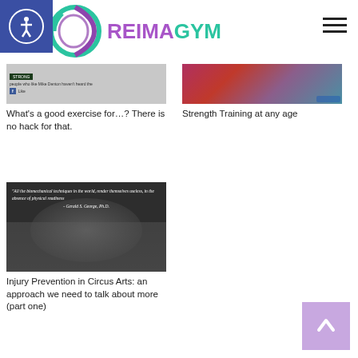[Figure (logo): ReimaGym logo with teal/purple circular graphic and brand name]
[Figure (screenshot): Article thumbnail showing social media/Facebook post about exercise hack]
What's a good exercise for…? There is no hack for that.
[Figure (photo): Thumbnail showing women strength training, fitness photo]
Strength Training at any age
[Figure (photo): Dark image with quote: All the biomechanical techniques in the world, render themselves useless, in the absence of physical readiness - Gerald S. George, Ph.D.]
Injury Prevention in Circus Arts: an approach we need to talk about more (part one)